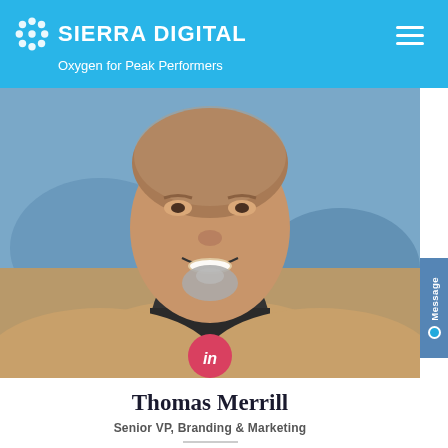SIERRA DIGITAL — Oxygen for Peak Performers
[Figure (photo): Close-up portrait photo of a middle-aged man with a grey goatee, wearing a dark turtleneck and tan blazer, smiling, with a blurred blue background. A LinkedIn button (pink circle with 'in') overlays the bottom center of the photo.]
Thomas Merrill
Senior VP, Branding & Marketing